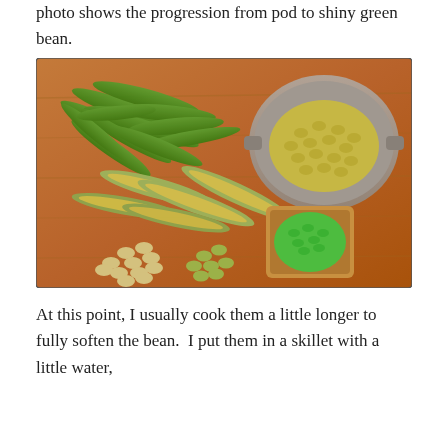photo shows the progression from pod to shiny green bean.
[Figure (photo): Photo of lima beans at various stages: whole green pods in a pile, opened pods showing beans inside, loose pale/yellowish beans in small piles on a wooden cutting board, shelled beans in a metal colander (upper right), and fresh bright green beans in a small wooden bowl (lower right).]
At this point, I usually cook them a little longer to fully soften the bean.  I put them in a skillet with a little water,